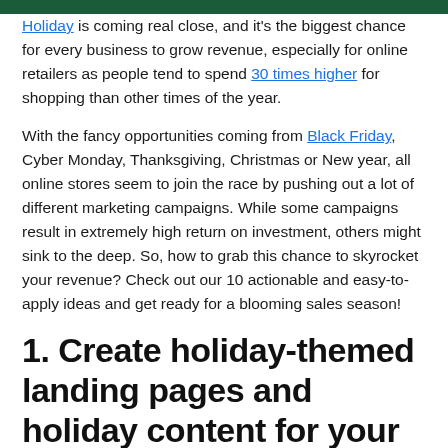Holiday is coming real close, and it's the biggest chance for every business to grow revenue, especially for online retailers as people tend to spend 30 times higher for shopping than other times of the year.
With the fancy opportunities coming from Black Friday, Cyber Monday, Thanksgiving, Christmas or New year, all online stores seem to join the race by pushing out a lot of different marketing campaigns. While some campaigns result in extremely high return on investment, others might sink to the deep. So, how to grab this chance to skyrocket your revenue? Check out our 10 actionable and easy-to-apply ideas and get ready for a blooming sales season!
1. Create holiday-themed landing pages and holiday content for your online shop